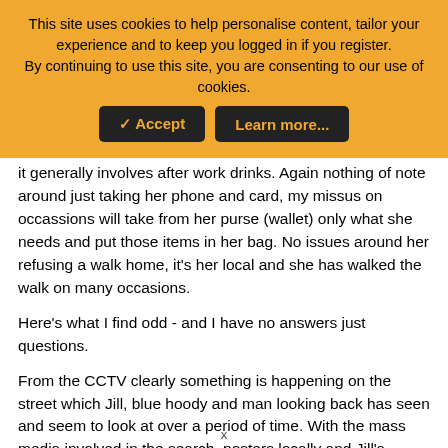This site uses cookies to help personalise content, tailor your experience and to keep you logged in if you register.
By continuing to use this site, you are consenting to our use of cookies.
✓ Accept   Learn more...
it generally involves after work drinks. Again nothing of note around just taking her phone and card, my missus on occassions will take from her purse (wallet) only what she needs and put those items in her bag. No issues around her refusing a walk home, it's her local and she has walked the walk on many occasions.
Here's what I find odd - and I have no answers just questions.
From the CCTV clearly something is happening on the street which Jill, blue hoody and man looking back has seen and seem to look at over a period of time. With the mass media involved in the search, posters locally and Jill's striking features why have
x